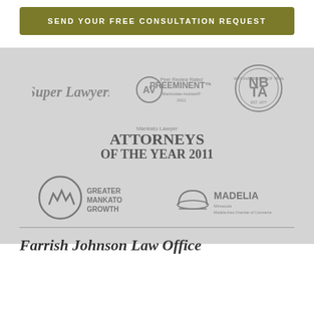SEND YOUR FREE CONSULTATION REQUEST
[Figure (logo): Super Lawyers logo in gray]
[Figure (logo): AV Peer Review Rated Preeminent logo in gray]
[Figure (logo): National Board of Trial Advocacy (NBTA) circular badge logo in gray]
[Figure (logo): Mankato Lawyer Attorneys of the Year 2011 logo in gray]
[Figure (logo): Greater Mankato Growth circular logo in gray]
[Figure (logo): Madelia Minnesota logo with dome icon in gray]
Farrish Johnson Law Office